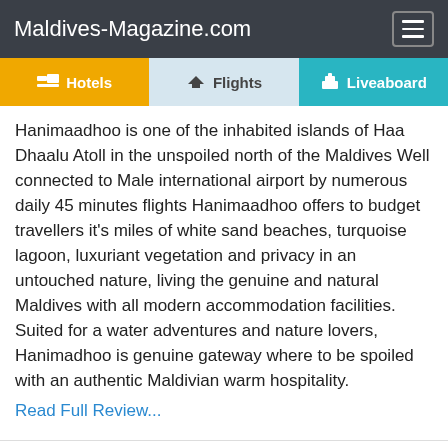Maldives-Magazine.com
Hotels  Flights  Liveaboard
Hanimaadhoo is one of the inhabited islands of Haa Dhaalu Atoll in the unspoiled north of the Maldives Well connected to Male international airport by numerous daily 45 minutes flights Hanimaadhoo offers to budget travellers it's miles of white sand beaches, turquoise lagoon, luxuriant vegetation and privacy in an untouched nature, living the genuine and natural Maldives with all modern accommodation facilities. Suited for a water adventures and nature lovers, Hanimadhoo is genuine gateway where to be spoiled with an authentic Maldivian warm hospitality. Read Full Review...